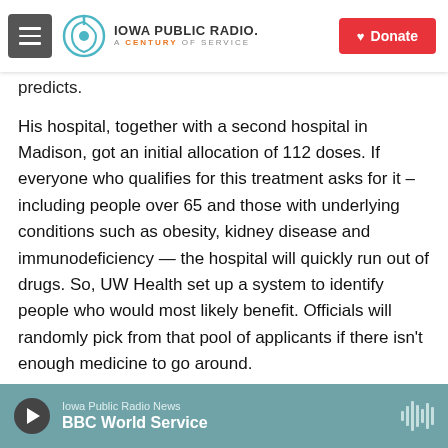Iowa Public Radio — A Century of Service | Donate
predicts.
His hospital, together with a second hospital in Madison, got an initial allocation of 112 doses. If everyone who qualifies for this treatment asks for it – including people over 65 and those with underlying conditions such as obesity, kidney disease and immunodeficiency — the hospital will quickly run out of drugs. So, UW Health set up a system to identify people who would most likely benefit. Officials will randomly pick from that pool of applicants if there isn't enough medicine to go around.
Iowa Public Radio News | BBC World Service